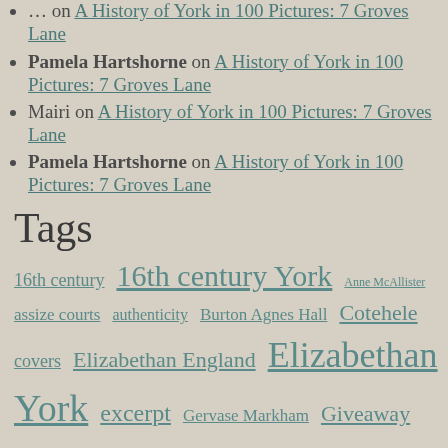… on A History of York in 100 Pictures: 7 Groves Lane
Pamela Hartshorne on A History of York in 100 Pictures: 7 Groves Lane
Mairi on A History of York in 100 Pictures: 7 Groves Lane
Pamela Hartshorne on A History of York in 100 Pictures: 7 Groves Lane
Tags
16th century  16th century York  Anne McAllister  assize courts  authenticity  Burton Agnes Hall  Cotehele  covers  Elizabethan England  Elizabethan York  excerpt  Gervase Markham  Giveaway  historical fiction  history  History of York in 100 pictures  House of Shadows